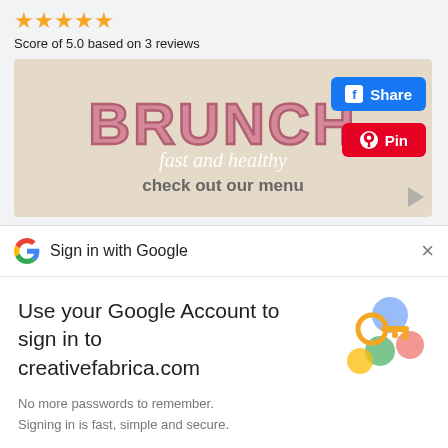[Figure (other): Five gold star rating icons]
Score of 5.0 based on 3 reviews
[Figure (photo): Brunch restaurant banner image with large pink text BRUNCH, italic script 'fast and healthy', and bold text 'check out our menu'. Facebook Share and Pinterest Pin buttons overlay the image.]
Sign in with Google
Use your Google Account to sign in to creativefabrica.com
No more passwords to remember.
Signing in is fast, simple and secure.
Continue